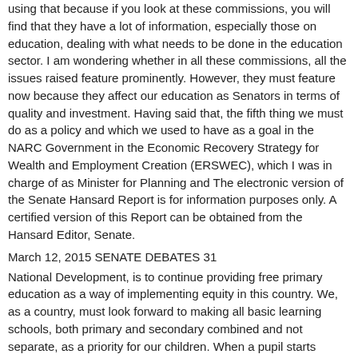using that because if you look at these commissions, you will find that they have a lot of information, especially those on education, dealing with what needs to be done in the education sector. I am wondering whether in all these commissions, all the issues raised feature prominently. However, they must feature now because they affect our education as Senators in terms of quality and investment. Having said that, the fifth thing we must do as a policy and which we used to have as a goal in the NARC Government in the Economic Recovery Strategy for Wealth and Employment Creation (ERSWEC), which I was in charge of as Minister for Planning and The electronic version of the Senate Hansard Report is for information purposes only. A certified version of this Report can be obtained from the Hansard Editor, Senate.
March 12, 2015 SENATE DEBATES 31
National Development, is to continue providing free primary education as a way of implementing equity in this country. We, as a country, must look forward to making all basic learning schools, both primary and secondary combined and not separate, as a priority for our children. When a pupil starts school in a primary school, he should go all the way to Form Four in the same school. You should not start thinking that the moment that you do Standard Eight, there will be competition for some people to go to national